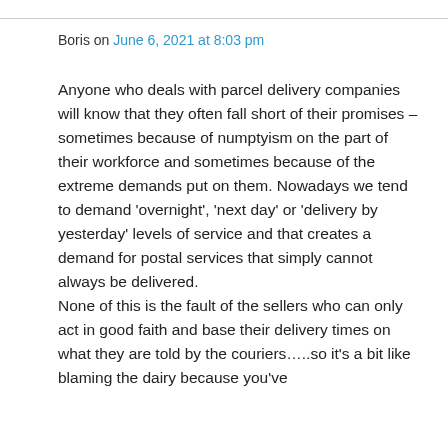Boris on June 6, 2021 at 8:03 pm
Anyone who deals with parcel delivery companies will know that they often fall short of their promises – sometimes because of numptyism on the part of their workforce and sometimes because of the extreme demands put on them. Nowadays we tend to demand ‘overnight’, ‘next day’ or ‘delivery by yesterday’ levels of service and that creates a demand for postal services that simply cannot always be delivered.
None of this is the fault of the sellers who can only act in good faith and base their delivery times on what they are told by the couriers…..so it’s a bit like blaming the dairy because you’ve